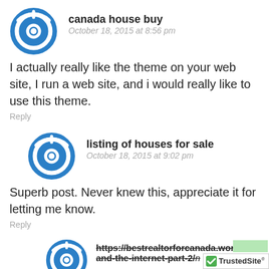canada house buy
October 18, 2015 at 8:56 pm
I actually really like the theme on your web site, I run a web site, and i would really like to use this theme.
Reply
listing of houses for sale
October 18, 2015 at 9:02 pm
Superb post. Never knew this, appreciate it for letting me know.
Reply
https://bestrealtorforcanada.wordpress.com/2015/
and-the-internet-part-2/
TrustedSite